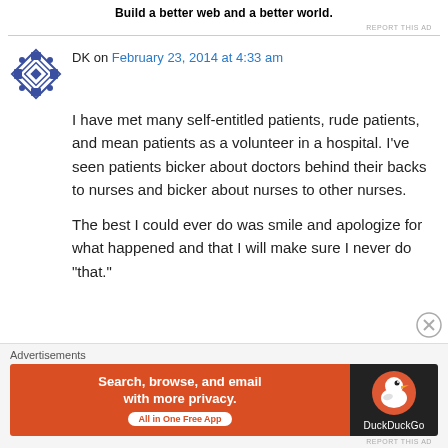Build a better web and a better world.
REPORT THIS AD
DK on February 23, 2014 at 4:33 am
I have met many self-entitled patients, rude patients, and mean patients as a volunteer in a hospital. I’ve seen patients bicker about doctors behind their backs to nurses and bicker about nurses to other nurses.

The best I could ever do was smile and apologize for what happened and that I will make sure I never do “that.”
Advertisements
[Figure (screenshot): DuckDuckGo advertisement banner: orange left section with text 'Search, browse, and email with more privacy. All in One Free App', dark right section with DuckDuckGo logo and duck icon.]